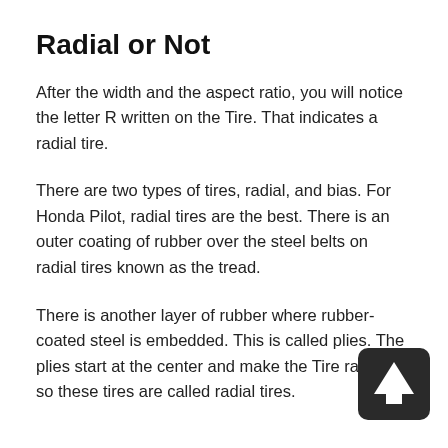Radial or Not
After the width and the aspect ratio, you will notice the letter R written on the Tire. That indicates a radial tire.
There are two types of tires, radial, and bias. For Honda Pilot, radial tires are the best. There is an outer coating of rubber over the steel belts on radial tires known as the tread.
There is another layer of rubber where rubber-coated steel is embedded. This is called plies. The plies start at the center and make the Tire radially, so these tires are called radial tires.
[Figure (illustration): Dark rounded square button with an upward-pointing arrow icon (scroll-to-top UI element), positioned at the bottom-right of the page.]